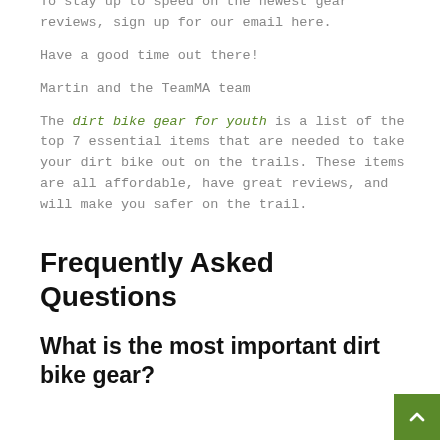you've already made your season's top shopping list.
To stay up to speed on the newest gear reviews, sign up for our email here.
Have a good time out there!
Martin and the TeamMA team
The dirt bike gear for youth is a list of the top 7 essential items that are needed to take your dirt bike out on the trails. These items are all affordable, have great reviews, and will make you safer on the trail.
Frequently Asked Questions
What is the most important dirt bike gear?